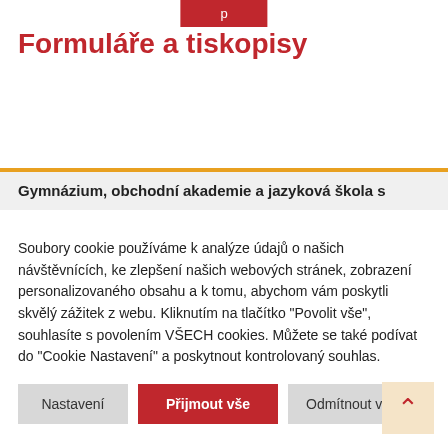[red button at top]
Formuláře a tiskopisy
Gymnázium, obchodní akademie a jazyková škola s
Soubory cookie používáme k analýze údajů o našich návštěvnících, ke zlepšení našich webových stránek, zobrazení personalizovaného obsahu a k tomu, abychom vám poskytli skvělý zážitek z webu. Kliknutím na tlačítko "Povolit vše", souhlasíte s povolením VŠECH cookies. Můžete se také podívat do "Cookie Nastavení" a poskytnout kontrolovaný souhlas.
Nastavení
Přijmout vše
Odmítnout vše